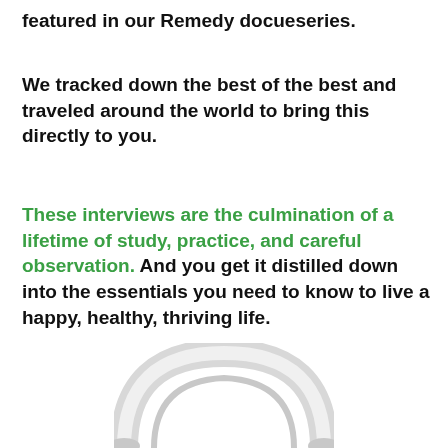featured in our Remedy docueseries.
We tracked down the best of the best and traveled around the world to bring this directly to you.
These interviews are the culmination of a lifetime of study, practice, and careful observation. And you get it distilled down into the essentials you need to know to live a happy, healthy, thriving life.
[Figure (photo): Partial view of white over-ear headphones, cropped at the bottom of the page showing just the headband and top portion.]